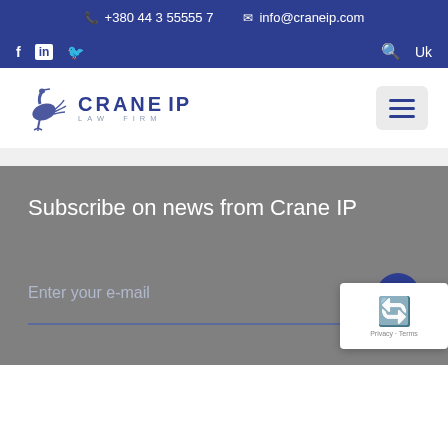+380 44 3 55555 7   info@craneip.com
[Figure (logo): Crane IP Law Firm logo with crane bird illustration]
Subscribe on news from Crane IP
Enter your e-mail